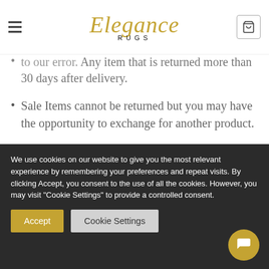Elegance RUGS
Any item that is returned more than 30 days after delivery.
Sale Items cannot be returned but you may have the opportunity to exchange for another product.
There are multiple ways to initiate your returns, we will respond with full instructions of what you
We use cookies on our website to give you the most relevant experience by remembering your preferences and repeat visits. By clicking Accept, you consent to the use of all the cookies. However, you may visit "Cookie Settings" to provide a controlled consent.